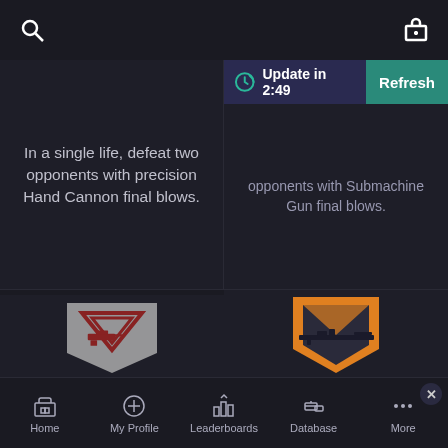Search | Gift
In a single life, defeat two opponents with precision Hand Cannon final blows.
Update in 2:49  Refresh
opponents with Submachine Gun final blows.
[Figure (illustration): Gray and dark red shield badge with a handgun silhouette and a triangle design]
One for Each of You
0 (0.00 PGA)
Deliver a final blow with a Sidearm within 5 seconds of
[Figure (illustration): Orange and dark gray shield badge with a sniper rifle silhouette]
[Figure (screenshot): Screenshot of a game stats website showing BLOODHUNT STATS with red themed UI, stat boxes, a blue progress bar, red button, and WEEKLY thumbnail cards]
Home | My Profile | Leaderboards | Database | More